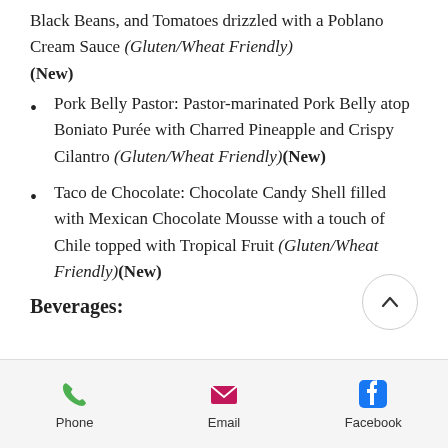Black Beans, and Tomatoes drizzled with a Poblano Cream Sauce (Gluten/Wheat Friendly) (New)
Pork Belly Pastor: Pastor-marinated Pork Belly atop Boniato Purée with Charred Pineapple and Crispy Cilantro (Gluten/Wheat Friendly)(New)
Taco de Chocolate: Chocolate Candy Shell filled with Mexican Chocolate Mousse with a touch of Chile topped with Tropical Fruit (Gluten/Wheat Friendly)(New)
Beverages:
Phone  Email  Facebook